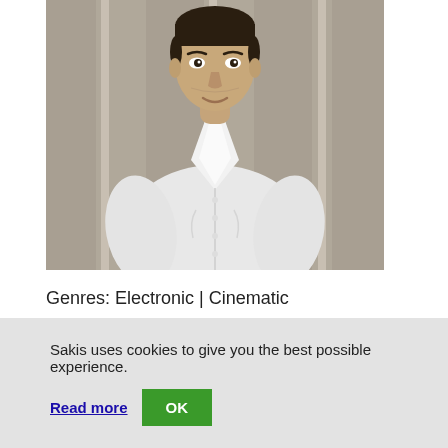[Figure (photo): Photo of a man wearing a white long-sleeve button-up shirt, shown from approximately waist up, with a blurred architectural background.]
Genres: Electronic | Cinematic
Studio Albums: 14
Awards & Distinctions: 10
Followers: 780,000+
Location: Elassona, Greece
Read Sakis' biography.
Sakis uses cookies to give you the best possible experience.
Read more  OK